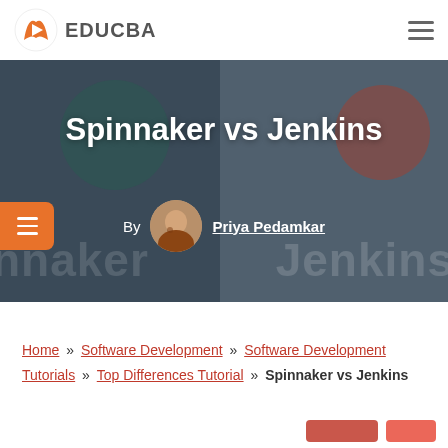EDUCBA
Spinnaker vs Jenkins
By Priya Pedamkar
Home » Software Development » Software Development Tutorials » Top Differences Tutorial » Spinnaker vs Jenkins